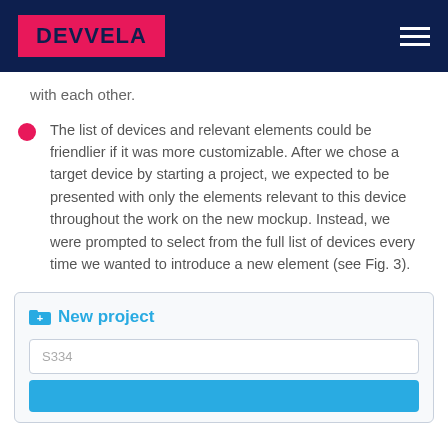DEVVELA
with each other.
The list of devices and relevant elements could be friendlier if it was more customizable. After we chose a target device by starting a project, we expected to be presented with only the elements relevant to this device throughout the work on the new mockup. Instead, we were prompted to select from the full list of devices every time we wanted to introduce a new element (see Fig. 3).
[Figure (screenshot): Screenshot of a 'New project' dialog with a folder-plus icon in blue, a text field containing 'S334', and a blue button below.]